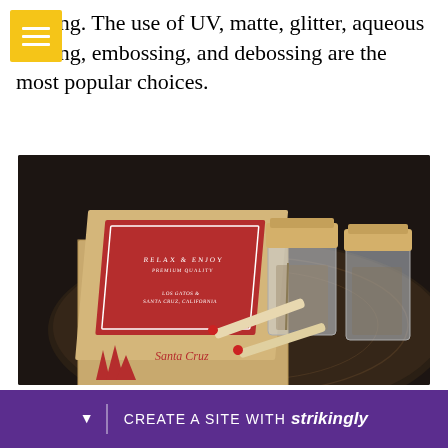pealing. The use of UV, matte, glitter, aqueous coating, embossing, and debossing are the most popular choices.
[Figure (photo): A Santa Cruz branded kraft cardboard box with red printed label reading 'RELAX & ENJOY', two glass jars with cork lids, and two pre-rolled cigarettes/joints with red tips, all arranged on a dark round wooden table.]
Can... ...at som...
CREATE A SITE WITH strikingly